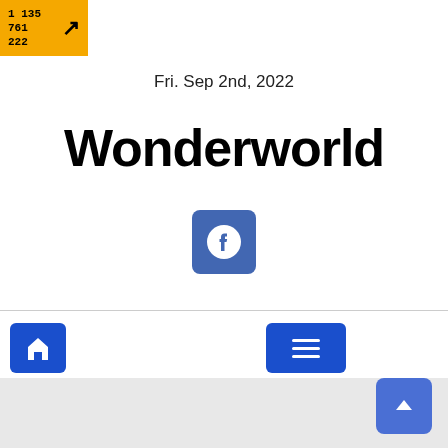[Figure (logo): Yellow square logo with numbers 1135, 761, 222 and an arrow pointing top-right]
Fri. Sep 2nd, 2022
Wonderworld
[Figure (logo): Facebook icon button - blue rounded square with white Facebook logo]
[Figure (infographic): Navigation bar with home icon button (blue) on left and hamburger menu button (blue) in center-right]
[Figure (other): Gray background area with scroll-to-top button in bottom right corner]